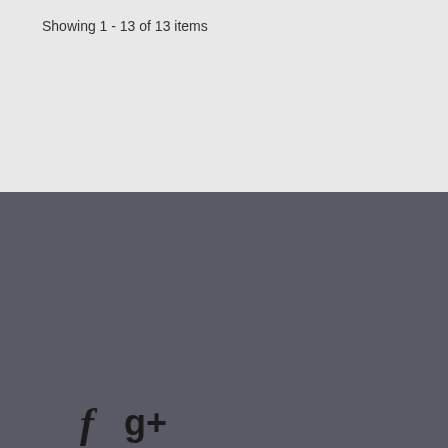Showing 1 - 13 of 13 items
[Figure (logo): Social media icons: Facebook (f) and Google+ (g+)]
Categories +
Information +
My account +
Store Information +